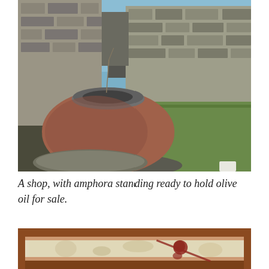[Figure (photo): Photograph of ancient ruins at Pompeii showing a large terracotta amphora (storage jar) in the foreground, surrounded by stone rubble walls and green ground cover in the background under a blue sky.]
A shop, with amphora standing ready to hold olive oil for sale.
[Figure (photo): Partial photograph of an ancient fresco or wall painting on a cream/beige background with a decorative reddish-brown border, showing a figure in red pigment.]